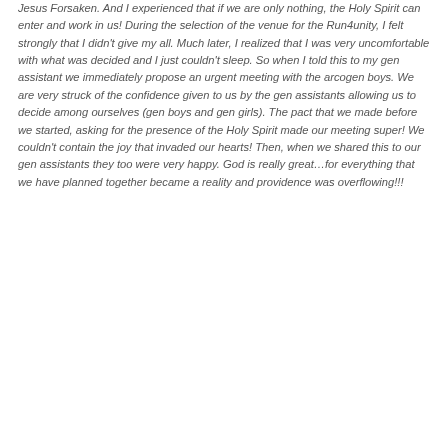Jesus Forsaken. And I experienced that if we are only nothing, the Holy Spirit can enter and work in us!  During the selection of the venue for the Run4unity, I felt strongly that I didn't give my all.  Much later, I realized that I was very uncomfortable with what was decided and I just couldn't sleep.  So when I told this to my gen assistant we immediately propose an urgent meeting with the arcogen boys.  We are very struck of the confidence given to us by the gen assistants allowing us to decide among ourselves (gen boys and gen girls). The pact that we made before we started, asking for the presence of the Holy Spirit made our meeting super! We couldn't contain the joy that invaded our hearts! Then, when we shared this to our gen assistants they too were very happy.   God is really great…for everything that we have planned together became a reality and providence was overflowing!!!